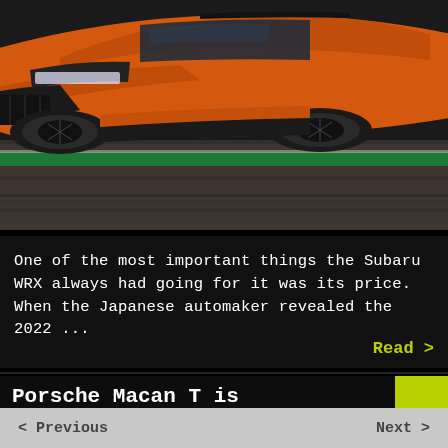[Figure (photo): Orange Subaru WRX SUV photographed on a racing track, motion-blurred track surface visible, viewed from front-right angle]
One of the most important things the Subaru WRX always had going for it was its price. When the Japanese automaker revealed the 2022 ...
Read >
Porsche Macan T is Designed for Agility and
< Previous    Next >